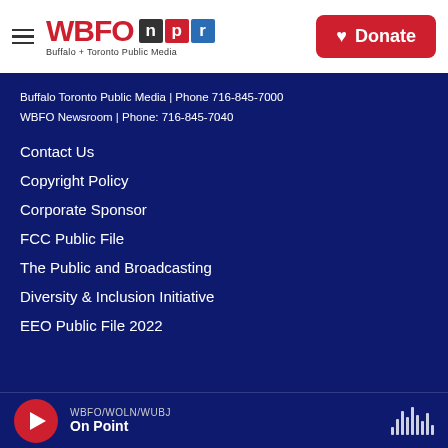WBFO NPR — Buffalo + Toronto Public Media — Donate
Buffalo Toronto Public Media | Phone 716-845-7000
WBFO Newsroom | Phone: 716-845-7040
Contact Us
Copyright Policy
Corporate Sponsor
FCC Public File
The Public and Broadcasting
Diversity & Inclusion Initiative
EEO Public File 2022
WBFO/WOLN/WUBJ On Point